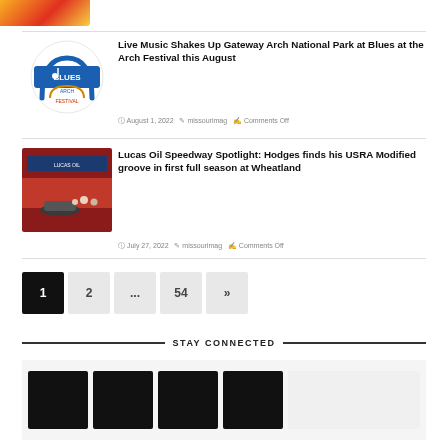[Figure (photo): Partial cropped image at top of page, colorful red/yellow design]
[Figure (logo): Blues at the Arch Festival logo with arch graphic]
Live Music Shakes Up Gateway Arch National Park at Blues at the Arch Festival this August
August 1, 2022   missourimag   Comments Off
[Figure (photo): Lucas Oil Speedway photo with racing car and people]
Lucas Oil Speedway Spotlight: Hodges finds his USRA Modified groove in first full season at Wheatland
July 27, 2022   missourimag   Comments Off
1  2  ...  54  »
STAY CONNECTED
[Figure (screenshot): Social media icons row at bottom of page]